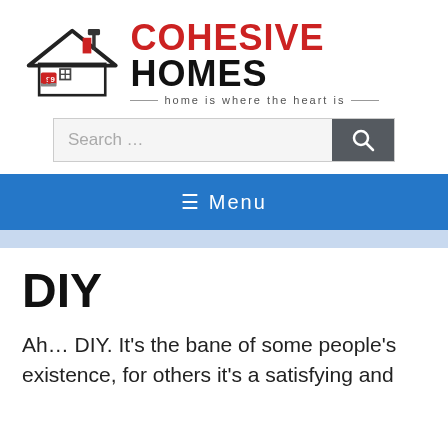[Figure (logo): Cohesive Homes logo: house icon with hammer and toolbox, red and black colors, with tagline 'home is where the heart is']
Search …
≡ Menu
DIY
Ah… DIY. It's the bane of some people's existence, for others it's a satisfying and